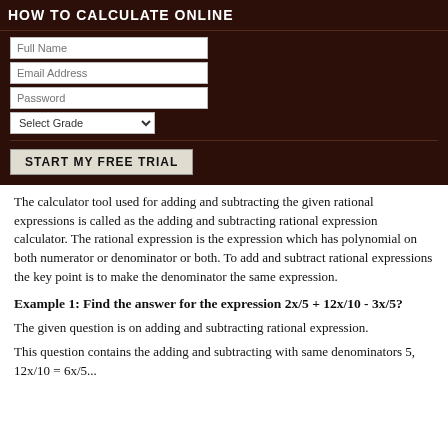HOW TO CALCULATE ONLINE
[Figure (screenshot): Web registration form on dark brown background with fields: Full Name, Email Address, Password, Select Grade dropdown, and a START MY FREE TRIAL button]
The calculator tool used for adding and subtracting the given rational expressions is called as the adding and subtracting rational expression calculator. The rational expression is the expression which has polynomial on both numerator or denominator or both. To add and subtract rational expressions the key point is to make the denominator the same expression.
Example 1: Find the answer for the expression 2x/5 + 12x/10 - 3x/5?
The given question is on adding and subtracting rational expression.
This question contains the adding and subtracting with same denominators 5, 12x/10 = 6x/5...